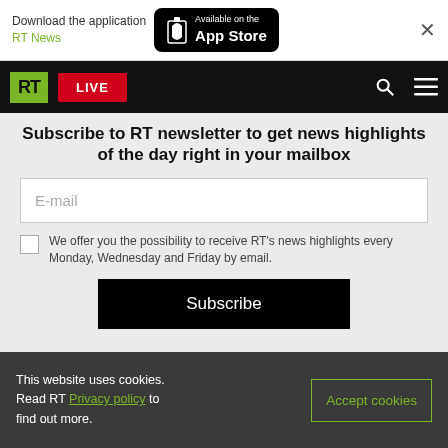[Figure (screenshot): App Store download banner with RT News label and Available on the App Store button]
[Figure (screenshot): RT website navigation bar with green RT logo, red LIVE button, search icon and hamburger menu]
Subscribe to RT newsletter to get news highlights of the day right in your mailbox
E-mail
We offer you the possibility to receive RT's news highlights every Monday, Wednesday and Friday by email.
Subscribe
This website uses cookies. Read RT Privacy policy to find out more.
Accept cookies